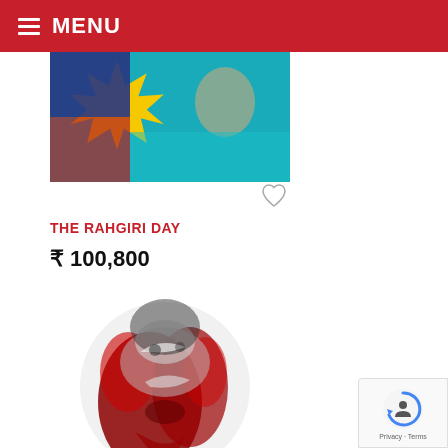MENU
[Figure (photo): Colorful artwork partially visible at top — appears to show a sun/floral motif with figures on a blue background]
[Figure (other): Heart/wishlist icon (outline heart)]
THE RAHGIRI DAY
₹ 100,800
[Figure (photo): Abstract figurative artwork showing a complex red, black and silver/grey creature or figure against a white background]
[Figure (other): Heart/wishlist icon (outline heart) at bottom]
[Figure (other): reCAPTCHA badge with Google logo — Privacy · Terms]